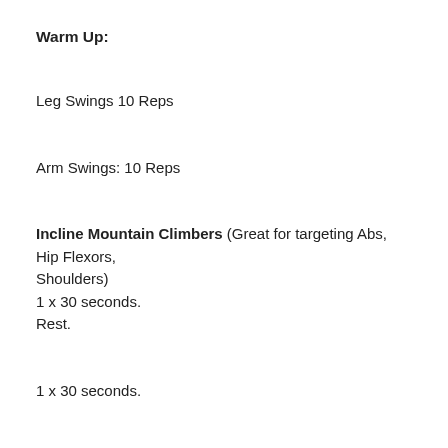Warm Up:
Leg Swings 10 Reps
Arm Swings: 10 Reps
Incline Mountain Climbers (Great for targeting Abs, Hip Flexors, Shoulders)
1 x 30 seconds.
Rest.
1 x 30 seconds.
Rest.
1 x 30 seconds.